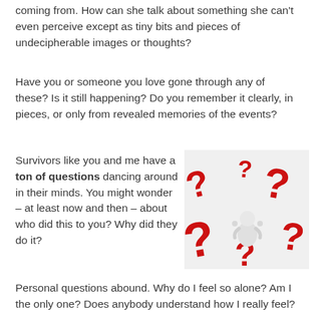coming from. How can she talk about something she can't even perceive except as tiny bits and pieces of undecipherable images or thoughts?
Have you or someone you love gone through any of these? Is it still happening? Do you remember it clearly, in pieces, or only from revealed memories of the events?
Survivors like you and me have a ton of questions dancing around in their minds. You might wonder – at least now and then – about who did this to you? Why did they do it?
[Figure (photo): A small white figurine sitting in a distressed pose surrounded by large red 3D question marks on a white background]
Personal questions abound. Why do I feel so alone? Am I the only one? Does anybody understand how I really feel?